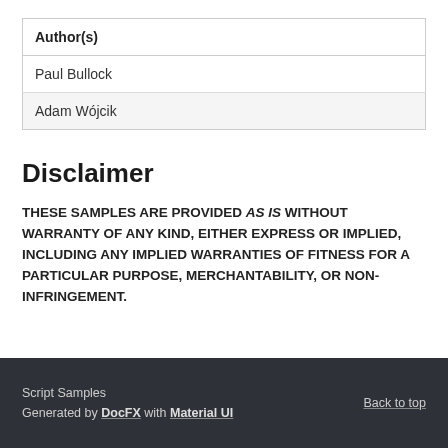| Author(s) |
| --- |
| Paul Bullock |
| Adam Wójcik |
Disclaimer
THESE SAMPLES ARE PROVIDED AS IS WITHOUT WARRANTY OF ANY KIND, EITHER EXPRESS OR IMPLIED, INCLUDING ANY IMPLIED WARRANTIES OF FITNESS FOR A PARTICULAR PURPOSE, MERCHANTABILITY, OR NON-INFRINGEMENT.
Script Samples
Generated by DocFX with Material UI
Back to top